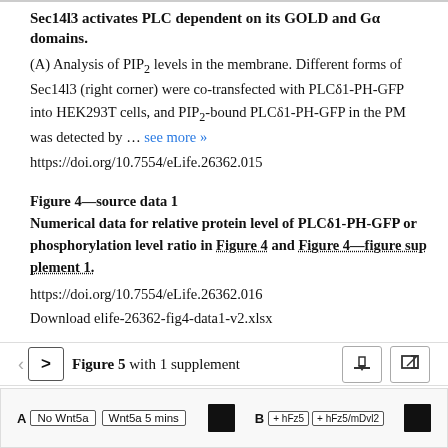Sec14l3 activates PLC dependent on its GOLD and Gα domains. (A) Analysis of PIP2 levels in the membrane. Different forms of Sec14l3 (right corner) were co-transfected with PLCδ1-PH-GFP into HEK293T cells, and PIP2-bound PLCδ1-PH-GFP in the PM was detected by ... see more » https://doi.org/10.7554/eLife.26362.015
Figure 4—source data 1
Numerical data for relative protein level of PLCδ1-PH-GFP or phosphorylation level ratio in Figure 4 and Figure 4—figure supplement 1. https://doi.org/10.7554/eLife.26362.016 Download elife-26362-fig4-data1-v2.xlsx
Figure 5 with 1 supplement
[Figure (other): Bottom strip showing Figure 5 panel A with labels 'No Wnt5a' and 'Wnt5a 5 mins', and panel B with labels '+ hFz5' and '+ hFz5/mDvl2']